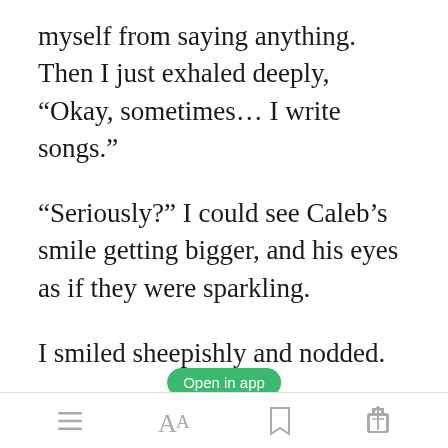myself from saying anything. Then I just exhaled deeply, “Okay, sometimes… I write songs.”
“Seriously?” I could see Caleb’s smile getting bigger, and his eyes as if they were sparkling.
I smiled sheepishly and nodded.
[Figure (other): Green pill-shaped button with white text reading 'Open in app']
“You gotta let me hear them.” he
Bottom navigation bar with menu, font size, bookmark, and share icons